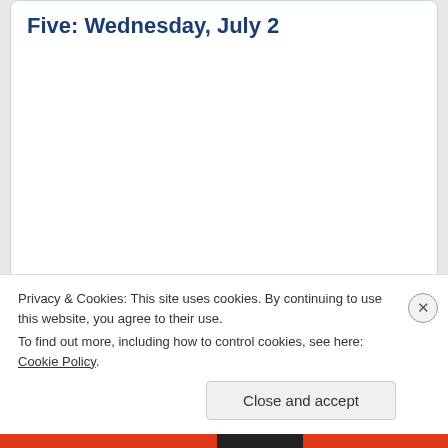Five: Wednesday, July 2
Privacy & Cookies: This site uses cookies. By continuing to use this website, you agree to their use.
To find out more, including how to control cookies, see here: Cookie Policy.
Close and accept